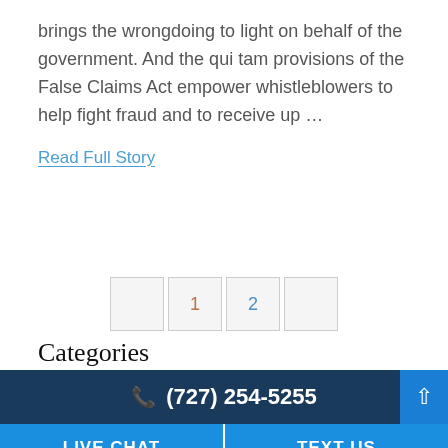brings the wrongdoing to light on behalf of the government. And the qui tam provisions of the False Claims Act empower whistleblowers to help fight fraud and to receive up …
Read Full Story
Categories
☎ (727) 254-5255  LIVE CHAT  TEXT US